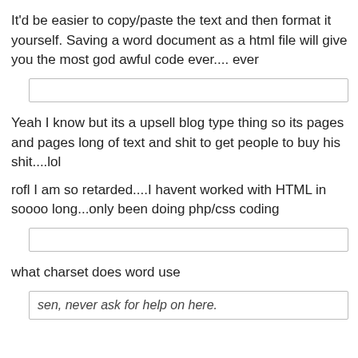It'd be easier to copy/paste the text and then format it yourself. Saving a word document as a html file will give you the most god awful code ever.... ever
[Figure (other): Empty text input box]
Yeah I know but its a upsell blog type thing so its pages and pages long of text and shit to get people to buy his shit....lol
rofl I am so retarded....I havent worked with HTML in soooo long...only been doing php/css coding
[Figure (other): Empty text input box]
what charset does word use
sen, never ask for help on here.